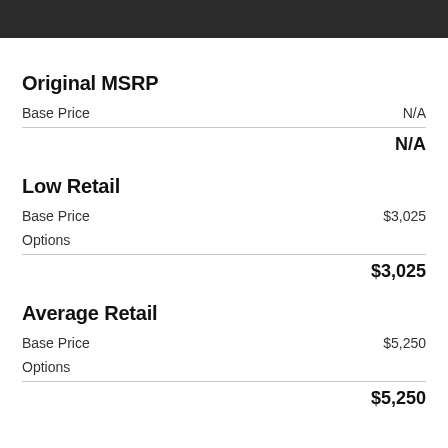Original MSRP
|  |  |
| --- | --- |
| Base Price | N/A |
|  | N/A |
Low Retail
|  |  |
| --- | --- |
| Base Price | $3,025 |
| Options |  |
|  | $3,025 |
Average Retail
|  |  |
| --- | --- |
| Base Price | $5,250 |
| Options |  |
|  | $5,250 |